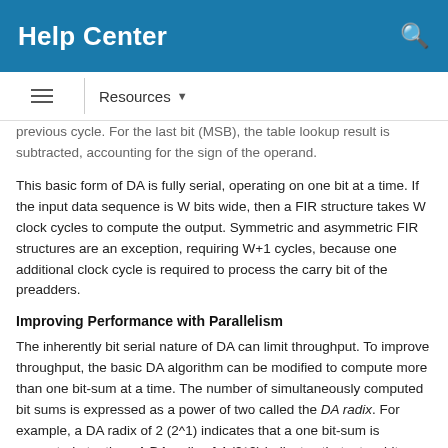Help Center
previous cycle. For the last bit (MSB), the table lookup result is subtracted, accounting for the sign of the operand.
This basic form of DA is fully serial, operating on one bit at a time. If the input data sequence is W bits wide, then a FIR structure takes W clock cycles to compute the output. Symmetric and asymmetric FIR structures are an exception, requiring W+1 cycles, because one additional clock cycle is required to process the carry bit of the preadders.
Improving Performance with Parallelism
The inherently bit serial nature of DA can limit throughput. To improve throughput, the basic DA algorithm can be modified to compute more than one bit-sum at a time. The number of simultaneously computed bit sums is expressed as a power of two called the DA radix. For example, a DA radix of 2 (2^1) indicates that a one bit-sum is computed at a time. A DA radix of 4 (2^2) indicates that a two bit-sums are computed at a time, and so on.
To compute more than one bit-sum at a time, the radar replicates...